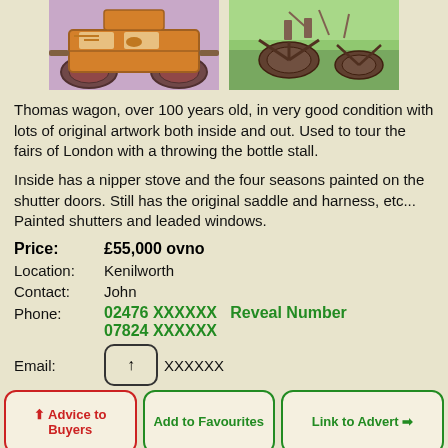[Figure (photo): Two photos of an old Thomas wagon: left photo shows a colorful decorated wagon with large wheels indoors; right photo shows wagon parts/wheels outdoors on grass.]
Thomas wagon, over 100 years old, in very good condition with lots of original artwork both inside and out. Used to tour the fairs of London with a throwing the bottle stall.
Inside has a nipper stove and the four seasons painted on the shutter doors. Still has the original saddle and harness, etc... Painted shutters and leaded windows.
Price: £55,000 ovno
Location: Kenilworth
Contact: John
Phone: 02476 XXXXXX   Reveal Number
07824 XXXXXX
Email: XXXXXX
↑ Advice to Buyers   Add to Favourites   Link to Advert →